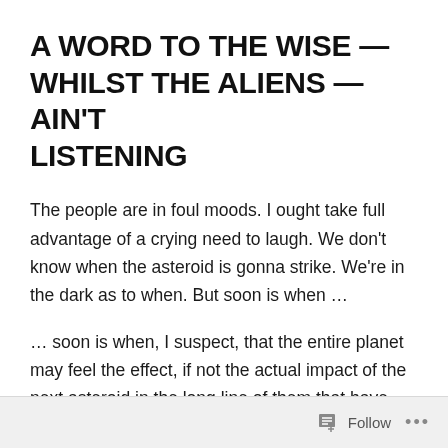A WORD TO THE WISE — WHILST THE ALIENS — AIN'T LISTENING
The people are in foul moods. I ought take full advantage of a crying need to laugh. We don't know when the asteroid is gonna strike. We're in the dark as to when. But soon is when …
… soon is when, I suspect, that the entire planet may feel the effect, if not the actual impact of the next asteroid in the long line of them that have actually, impacted, Earth. Soon's when …
Follow